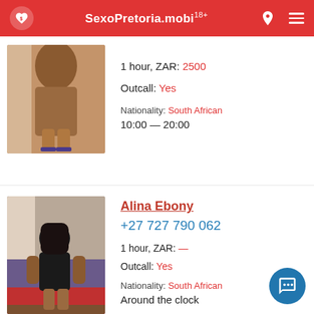SexoPretoria.mobi 18+
1 hour, ZAR: 2500
Outcall: Yes
Nationality: South African
10:00 — 20:00
Alina Ebony
+27 727 790 062
1 hour, ZAR: —
Outcall: Yes
Nationality: South African
Around the clock
[Figure (photo): Photo of a woman from behind wearing high heels]
[Figure (photo): Photo of a woman with long dark hair from behind, wearing dark outfit, sitting on a red surface]